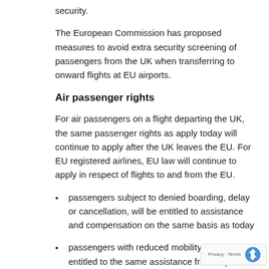security.
The European Commission has proposed measures to avoid extra security screening of passengers from the UK when transferring to onward flights at EU airports.
Air passenger rights
For air passengers on a flight departing the UK, the same passenger rights as apply today will continue to apply after the UK leaves the EU. For EU registered airlines, EU law will continue to apply in respect of flights to and from the EU.
passengers subject to denied boarding, delay or cancellation, will be entitled to assistance and compensation on the same basis as today
passengers with reduced mobility will still be entitled to the same assistance from airports and airlines
UK consumer protection in the event of insolvency of a travel provider will continue to apply